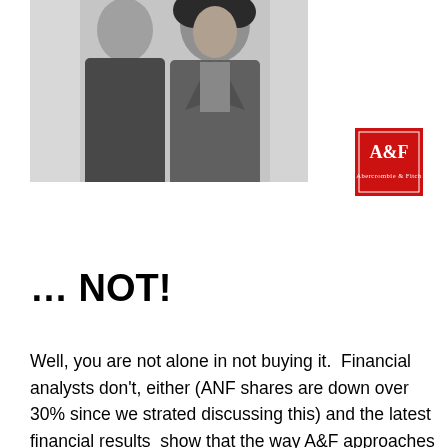[Figure (photo): Black and white photo of two people, one with curly hair wearing a jacket, against a light grey background]
[Figure (logo): Abercrombie & Fitch red square logo with stylized A&F lettering in white]
… NOT!
Well, you are not alone in not buying it.  Financial analysts don't, either (ANF shares are down over 30% since we strated discussing this) and the latest financial results  show that the way A&F approaches this repositioning is a huge waste of money.  Sales are down – which means people don't the sudden transformation from jock to cutsie